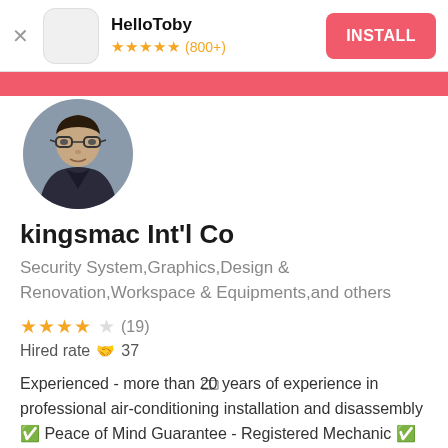[Figure (screenshot): HelloToby app install banner with app icon, star rating (800+), and INSTALL button]
[Figure (photo): Pink/salmon colored banner strip]
[Figure (photo): Circular profile photo of a man wearing glasses]
kingsmac Int'l Co
Security System,Graphics,Design & Renovation,Workspace & Equipments,and others
★★★★☆ (19)
Hired rate 🤝 37
Experienced - more than 2️⃣0️⃣ years of experience in professional air-conditioning installation and disassembly ✅ Peace of Mind Guarantee - Registered Mechanic ✅